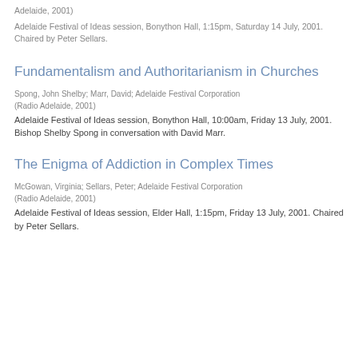Adelaide, 2001)
Adelaide Festival of Ideas session, Bonython Hall, 1:15pm, Saturday 14 July, 2001. Chaired by Peter Sellars.
Fundamentalism and Authoritarianism in Churches
Spong, John Shelby; Marr, David; Adelaide Festival Corporation (Radio Adelaide, 2001)
Adelaide Festival of Ideas session, Bonython Hall, 10:00am, Friday 13 July, 2001. Bishop Shelby Spong in conversation with David Marr.
The Enigma of Addiction in Complex Times
McGowan, Virginia; Sellars, Peter; Adelaide Festival Corporation (Radio Adelaide, 2001)
Adelaide Festival of Ideas session, Elder Hall, 1:15pm, Friday 13 July, 2001. Chaired by Peter Sellars.